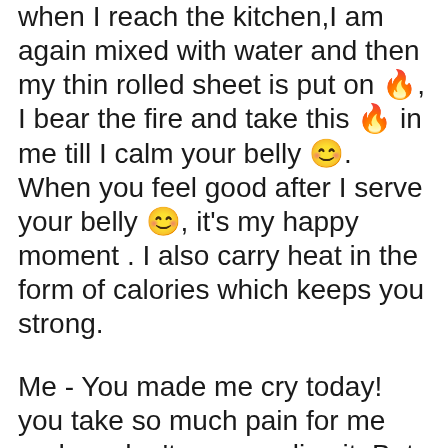when I reach the kitchen,I am again mixed with water and then my thin rolled sheet is put on 🔥, I bear the fire and take this 🔥 in me till I calm your belly 😊. When you feel good after I serve your belly 😊, it's my happy moment . I also carry heat in the form of calories which keeps you strong.
Me - You made me cry today! you take so much pain for me and we don't even realize it. But, I always worship you and offer to gods. Please tell me about your different forms.
Roti - Ok, to be honest with you, the difference in forms is only for you to bring a change otherwise for me it's the same. I only see your good feelings which you express while consuming me. I feel extremely satisfied and